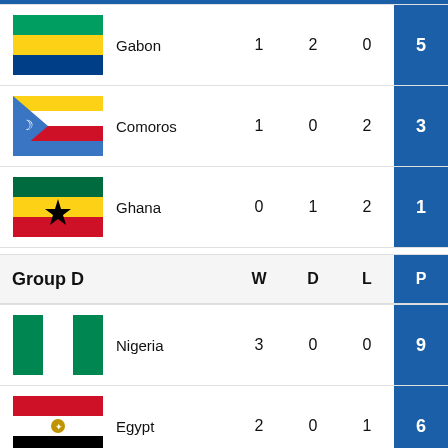| Team | W | D | L | P |
| --- | --- | --- | --- | --- |
| Gabon | 1 | 2 | 0 | 5 |
| Comoros | 1 | 0 | 2 | 3 |
| Ghana | 0 | 1 | 2 | 1 |
| Group D | W | D | L | P |
| --- | --- | --- | --- | --- |
| Nigeria | 3 | 0 | 0 | 9 |
| Egypt | 2 | 0 | 1 | 6 |
| Sudan | 0 | 1 | 2 | 1 |
| Guinea Bissau | 0 | 1 | 2 | 1 |
| Group E | W | D | L | P |
| --- | --- | --- | --- | --- |
| Cote d Ivoire | 0 | 1 | 0 | 7 |